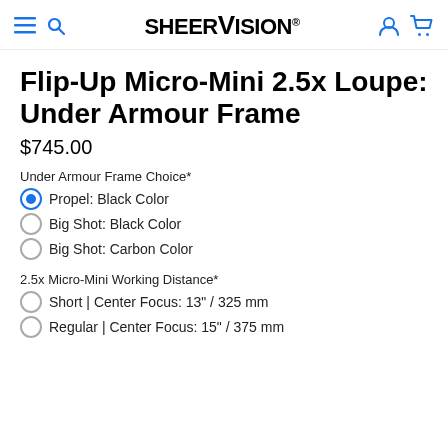SHEERVISION®
Flip-Up Micro-Mini 2.5x Loupe: Under Armour Frame
$745.00
Under Armour Frame Choice*
Propel: Black Color (selected)
Big Shot: Black Color
Big Shot: Carbon Color
2.5x Micro-Mini Working Distance*
Short | Center Focus: 13" / 325 mm
Regular | Center Focus: 15" / 375 mm